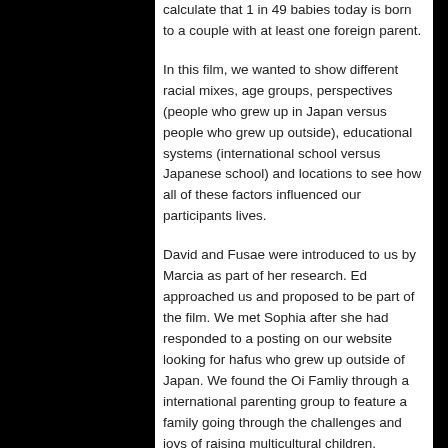calculate that 1 in 49 babies today is born to a couple with at least one foreign parent.
In this film, we wanted to show different racial mixes, age groups, perspectives (people who grew up in Japan versus people who grew up outside), educational systems (international school versus Japanese school) and locations to see how all of these factors influenced our participants lives.
David and Fusae were introduced to us by Marcia as part of her research. Ed approached us and proposed to be part of the film. We met Sophia after she had responded to a posting on our website looking for hafus who grew up outside of Japan. We found the Oi Famliy through a international parenting group to feature a family going through the challenges and joys of raising multicultural children.
Among these many factors, appearance seems to